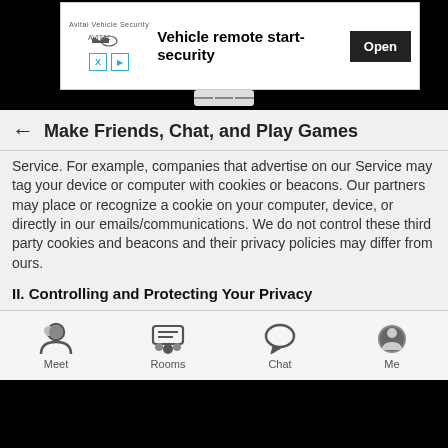[Figure (screenshot): Mobile app advertisement banner for Avital Vehicle Security showing logo, text 'Vehicle remote start-security', and an 'Open' button]
Make Friends, Chat, and Play Games
Service. For example, companies that advertise on our Service may tag your device or computer with cookies or beacons. Our partners may place or recognize a cookie on your computer, device, or directly in our emails/communications. We do not control these third party cookies and beacons and their privacy policies may differ from ours.
II. Controlling and Protecting Your Privacy
1. Personal Safety. After getting to know someone online, you may choose to meet him or her in-person. If so, be careful and use
Meet   Rooms   Chat   Me